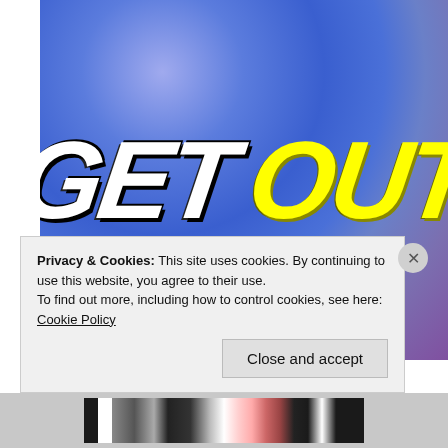[Figure (illustration): Movie title graphic for 'GET OUT' with bold white italic 'GET' and bold yellow italic 'OUT' text on a blue/purple blurred gradient background]
Privacy & Cookies: This site uses cookies. By continuing to use this website, you agree to their use.
To find out more, including how to control cookies, see here: Cookie Policy
Close and accept